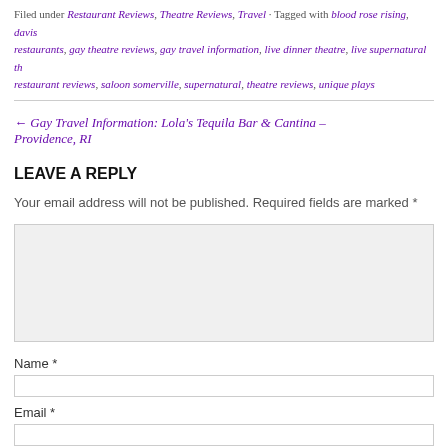Filed under Restaurant Reviews, Theatre Reviews, Travel - Tagged with blood rose rising, davis restaurants, gay theatre reviews, gay travel information, live dinner theatre, live supernatural th… restaurant reviews, saloon somerville, supernatural, theatre reviews, unique plays
← Gay Travel Information: Lola's Tequila Bar & Cantina – Providence, RI
LEAVE A REPLY
Your email address will not be published. Required fields are marked *
Name *
Email *